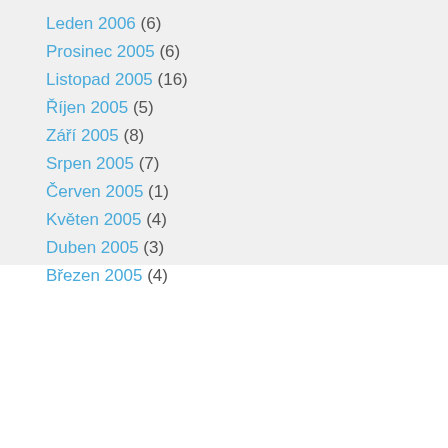Leden 2006 (6)
Prosinec 2005 (6)
Listopad 2005 (16)
Říjen 2005 (5)
Září 2005 (8)
Srpen 2005 (7)
Červen 2005 (1)
Květen 2005 (4)
Duben 2005 (3)
Březen 2005 (4)